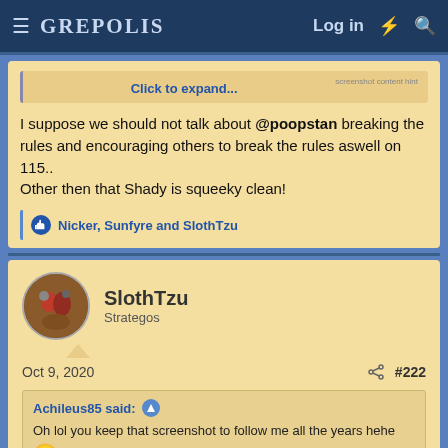GREPOLIS — Log in
Click to expand...
I suppose we should not talk about @poopstan breaking the rules and encouraging others to break the rules aswell on 115..
Other then that Shady is squeeky clean!
Nicker, Sunfyre and SlothTzu
SlothTzu
Strategos
Oct 9, 2020
#222
Achileus85 said:
Oh lol you keep that screenshot to follow me all the years hehe 😀
Yea I told leaders the truth, that I was not using any bots, thats